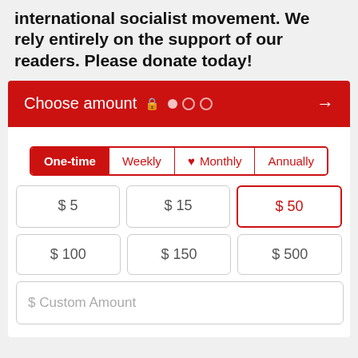international socialist movement. We rely entirely on the support of our readers. Please donate today!
[Figure (screenshot): Donation widget with 'Choose amount' header in red, tab selector (One-time, Weekly, Monthly, Annually), amount buttons ($5, $15, $50 selected, $100, $150, $500), and custom amount input field.]